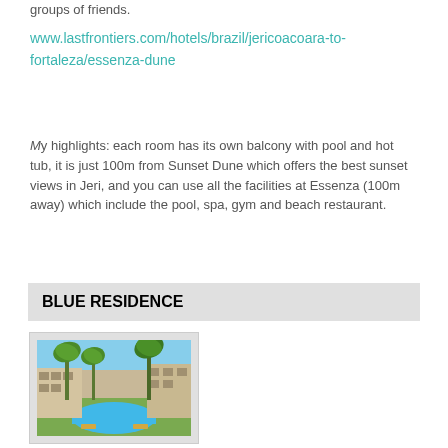groups of friends.
www.lastfrontiers.com/hotels/brazil/jericoacoara-to-fortaleza/essenza-dune
My highlights: each room has its own balcony with pool and hot tub, it is just 100m from Sunset Dune which offers the best sunset views in Jeri, and you can use all the facilities at Essenza (100m away) which include the pool, spa, gym and beach restaurant.
BLUE RESIDENCE
[Figure (photo): Outdoor pool area with palm trees and resort buildings at Blue Residence]